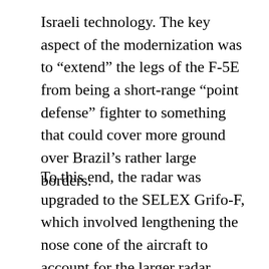Israeli technology. The key aspect of the modernization was to “extend” the legs of the F-5E from being a short-range “point defense” fighter to something that could cover more ground over Brazil’s rather large borders.
To this end, the radar was upgraded to the SELEX Grifo-F, which involved lengthening the nose cone of the aircraft to account for the larger radar antenna. But while the new radar was better, the F-5EM was designed with a secure